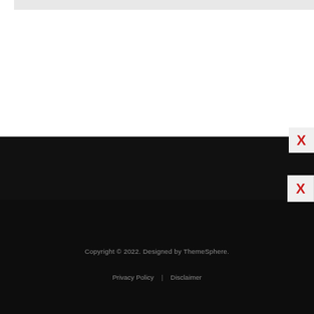[Figure (other): White content area with light gray bar at top, with a red X close button at bottom-right corner]
[Figure (other): Dark black banner/advertisement strip with a red X close button at right]
Copyright © 2022. Designed by ThemeSphere.
Privacy Policy | Disclaimer